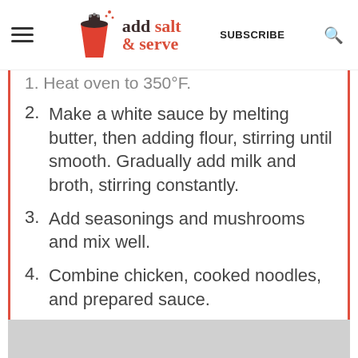add salt & serve | SUBSCRIBE
1. Heat oven to 350°F.
2. Make a white sauce by melting butter, then adding flour, stirring until smooth. Gradually add milk and broth, stirring constantly.
3. Add seasonings and mushrooms and mix well.
4. Combine chicken, cooked noodles, and prepared sauce.